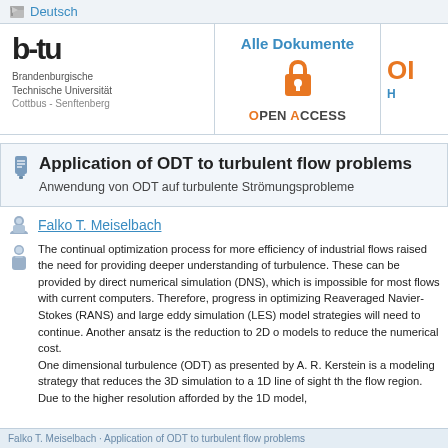Deutsch
[Figure (logo): BTU Brandenburgische Technische Universität Cottbus - Senftenberg logo]
Alle Dokumente
[Figure (logo): Open Access lock icon]
OPEN ACCESS
Application of ODT to turbulent flow problems
Anwendung von ODT auf turbulente Strömungsprobleme
Falko T. Meiselbach
The continual optimization process for more efficiency of industrial flows raised the need for providing deeper understanding of turbulence. These can be provided by direct numerical simulation (DNS), which is impossible for most flows with current computers. Therefore, progress in optimizing Reynolds-averaged Navier-Stokes (RANS) and large eddy simulation (LES) model strategies will need to continue. Another ansatz is the reduction to 2D or 1D models to reduce the numerical cost.
One dimensional turbulence (ODT) as presented by A. R. Kerstein is a modeling strategy that reduces the 3D simulation to a 1D line of sight through the flow region. Due to the higher resolution afforded by the 1D model,